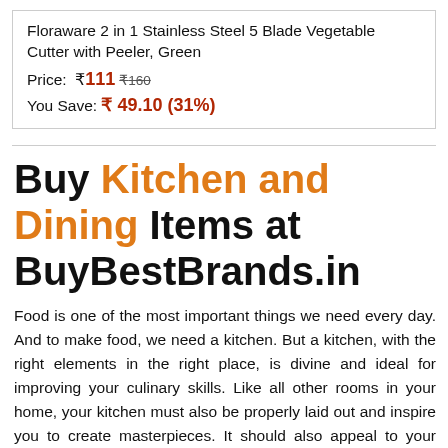Floraware 2 in 1 Stainless Steel 5 Blade Vegetable Cutter with Peeler, Green
Price: ₹111 ₹160
You Save: ₹ 49.10 (31%)
Buy Kitchen and Dining Items at BuyBestBrands.in
Food is one of the most important things we need every day. And to make food, we need a kitchen. But a kitchen, with the right elements in the right place, is divine and ideal for improving your culinary skills. Like all other rooms in your home, your kitchen must also be properly laid out and inspire you to create masterpieces. It should also appeal to your senses and help you get together as a family. Shop in a wide range of cuisines and restaurants.
There are so many elements that can be incorporated to make a